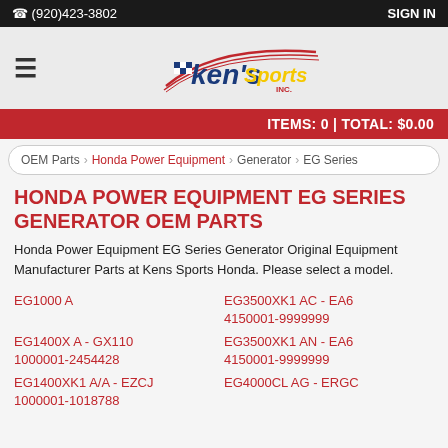(920)423-3802   SIGN IN
[Figure (logo): Ken's Sports Inc. logo with racing stripes and blue/yellow/red lettering]
ITEMS: 0 | TOTAL: $0.00
OEM Parts > Honda Power Equipment > Generator > EG Series
HONDA POWER EQUIPMENT EG SERIES GENERATOR OEM PARTS
Honda Power Equipment EG Series Generator Original Equipment Manufacturer Parts at Kens Sports Honda. Please select a model.
EG1000 A
EG3500XK1 AC - EA6 4150001-9999999
EG1400X A - GX110 1000001-2454428
EG3500XK1 AN - EA6 4150001-9999999
EG1400XK1 A/A - EZCJ 1000001-1018788
EG4000CL AG - ERGC